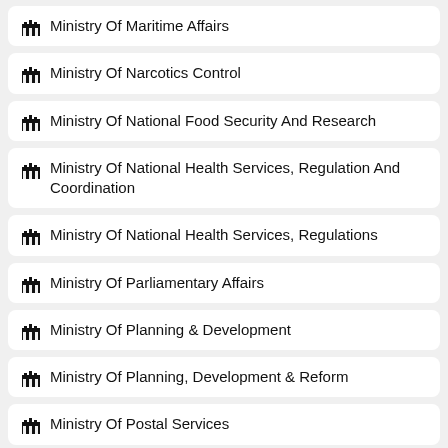Ministry Of Maritime Affairs
Ministry Of Narcotics Control
Ministry Of National Food Security And Research
Ministry Of National Health Services, Regulation And Coordination
Ministry Of National Health Services, Regulations
Ministry Of Parliamentary Affairs
Ministry Of Planning & Development
Ministry Of Planning, Development & Reform
Ministry Of Postal Services